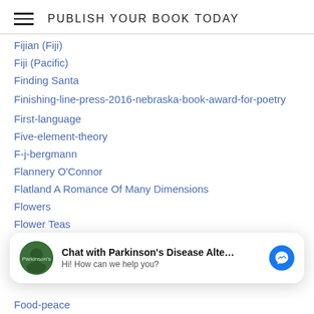PUBLISH YOUR BOOK TODAY
Fijian (Fiji)
Fiji (Pacific)
Finding Santa
Finishing-line-press-2016-nebraska-book-award-for-poetry
First-language
Five-element-theory
F-j-bergmann
Flannery O'Connor
Flatland A Romance Of Many Dimensions
Flowers
Flower Teas
Fluency
[Figure (screenshot): Facebook Messenger chat widget: Chat with Parkinson's Disease Alte... Hi! How can we help you?]
Food-peace